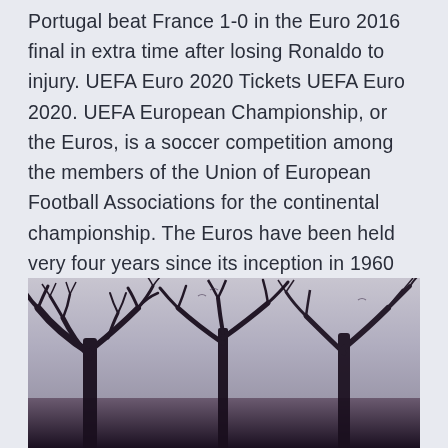Portugal beat France 1-0 in the Euro 2016 final in extra time after losing Ronaldo to injury. UEFA Euro 2020 Tickets UEFA Euro 2020. UEFA European Championship, or the Euros, is a soccer competition among the members of the Union of European Football Associations for the continental championship. The Euros have been held very four years since its inception in 1960 and are held in even years between World Cup championships. Jun 11, 2021 · Previewing Wales' Euro 2020 clash with Switzerland. Twitter goes berserk over England lineup ahead of Euro 2020 Croatia clash.
[Figure (photo): A winter photograph of bare deciduous trees with dark, intricate branching silhouettes against a pale, overcast sky. The image has a muted, cool-toned aesthetic with purplish-grey tones.]